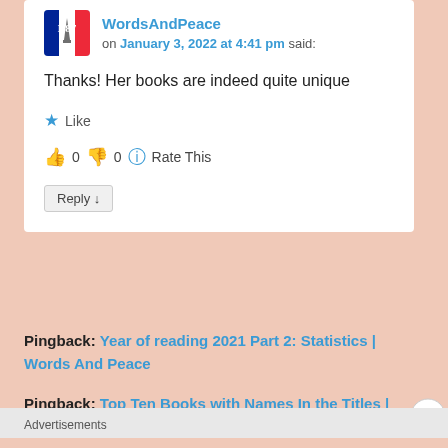[Figure (photo): Avatar image for WordsAndPeace user, showing Eiffel Tower with French flag colors]
WordsAndPeace on January 3, 2022 at 4:41 pm said:
Thanks! Her books are indeed quite unique
★ Like
👍 0 👎 0 🔵 Rate This
Reply ↓
Pingback: Year of reading 2021 Part 2: Statistics | Words And Peace
Pingback: Top Ten Books with Names In the Titles | Words And Peace
Advertisements